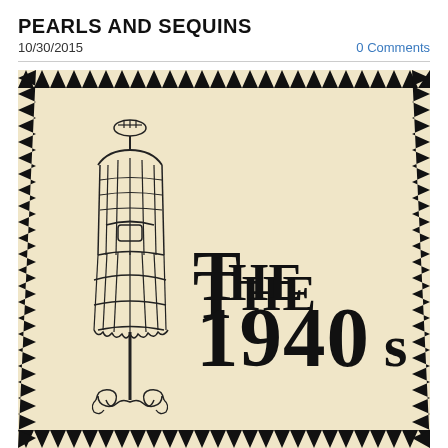PEARLS AND SEQUINS
10/30/2015
0 Comments
[Figure (illustration): A vintage fabric swatch illustration with a zig-zag black border on a cream/parchment background. On the left is a wire dress form mannequin on a stand with decorative scrollwork at the base. On the right in large bold art-deco style text reads 'The 1940s'.]